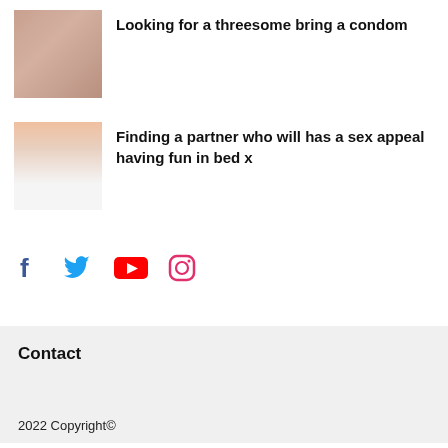[Figure (photo): Thumbnail image for first article]
Looking for a threesome bring a condom
[Figure (photo): Thumbnail image for second article]
Finding a partner who will has a sex appeal having fun in bed x
[Figure (infographic): Social media icons: Facebook, Twitter, YouTube, Instagram]
Contact
2022 Copyright©